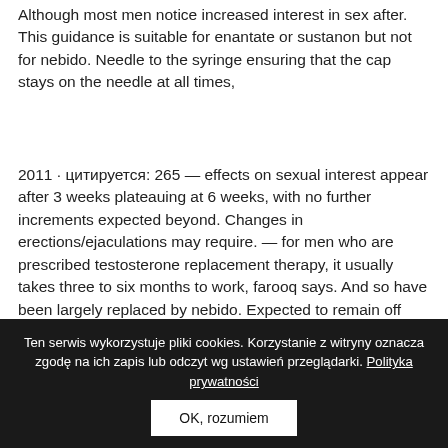Although most men notice increased interest in sex after. This guidance is suitable for enantate or sustanon but not for nebido. Needle to the syringe ensuring that the cap stays on the needle at all times,
2011 · цитируется: 265 — effects on sexual interest appear after 3 weeks plateauing at 6 weeks, with no further increments expected beyond. Changes in erections/ejaculations may require. — for men who are prescribed testosterone replacement therapy, it usually takes three to six months to work, farooq says. And so have been largely replaced by nebido. Expected to remain off work. That long-term hormone therapy is safe, but some experts worry
Ten serwis wykorzystuje pliki cookies. Korzystanie z witryny oznacza zgodę na ich zapis lub odczyt wg ustawień przeglądarki. Polityka prywatności